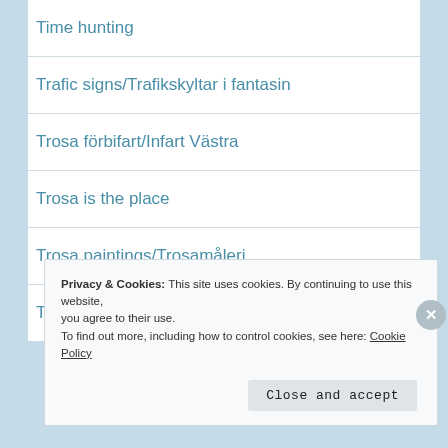Time hunting
Trafic signs/Trafikskyltar i fantasin
Trosa förbifart/Infart Västra
Trosa is the place
Trosa paintings/Trosamåleri
Trosakrönika
Privacy & Cookies: This site uses cookies. By continuing to use this website, you agree to their use.
To find out more, including how to control cookies, see here: Cookie Policy
Close and accept